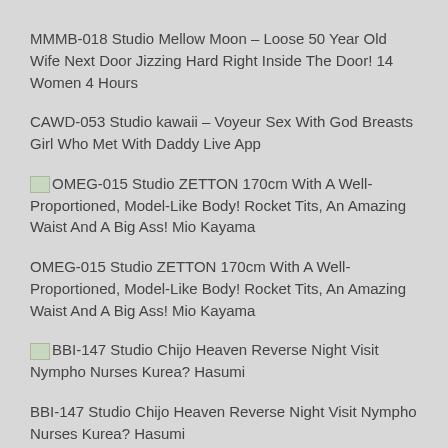MMMB-018 Studio Mellow Moon – Loose 50 Year Old Wife Next Door Jizzing Hard Right Inside The Door! 14 Women 4 Hours
CAWD-053 Studio kawaii – Voyeur Sex With God Breasts Girl Who Met With Daddy Live App
[broken image] OMEG-015 Studio ZETTON 170cm With A Well-Proportioned, Model-Like Body! Rocket Tits, An Amazing Waist And A Big Ass! Mio Kayama
OMEG-015 Studio ZETTON 170cm With A Well-Proportioned, Model-Like Body! Rocket Tits, An Amazing Waist And A Big Ass! Mio Kayama
[broken image] BBI-147 Studio Chijo Heaven Reverse Night Visit Nympho Nurses Kurea? Hasumi
BBI-147 Studio Chijo Heaven Reverse Night Visit Nympho Nurses Kurea? Hasumi